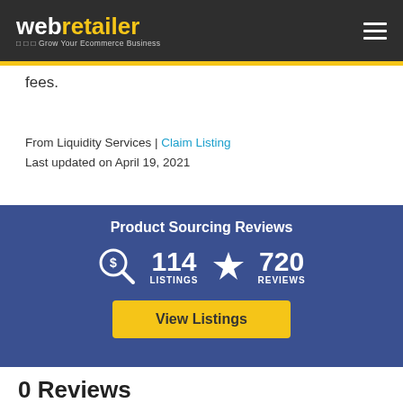webretailer — Grow Your Ecommerce Business
fees.
From Liquidity Services | Claim Listing
Last updated on April 19, 2021
Product Sourcing Reviews
114 LISTINGS  720 REVIEWS
View Listings
0 Reviews